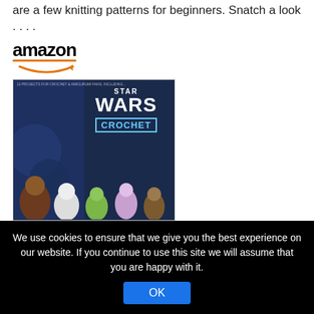are a few knitting patterns for beginners. Snatch a look ….
[Figure (screenshot): Amazon logo with orange underline and arrow]
[Figure (photo): Star Wars Crochet book cover on Amazon product listing]
Star Wars Crochet...
$31.99  ✓Prime
[Figure (screenshot): Amazon 'Shop now' button with Amazon logo icon]
Top Selling
[Figure (photo): Three sewing machine product images in a row]
We use cookies to ensure that we give you the best experience on our website. If you continue to use this site we will assume that you are happy with it.